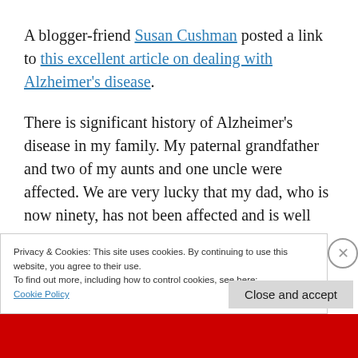A blogger-friend Susan Cushman posted a link to this excellent article on dealing with Alzheimer's disease.
There is significant history of Alzheimer's disease in my family. My paternal grandfather and two of my aunts and one uncle were affected. We are very lucky that my dad, who is now ninety, has not been affected and is well
Privacy & Cookies: This site uses cookies. By continuing to use this website, you agree to their use.
To find out more, including how to control cookies, see here:
Cookie Policy
Close and accept